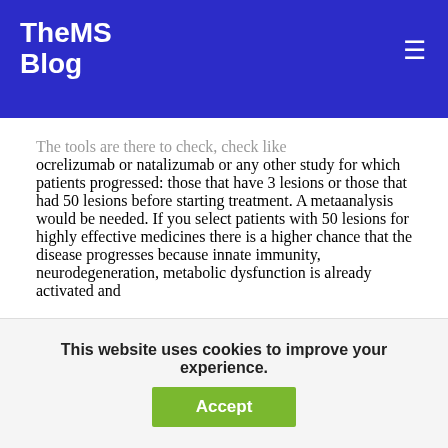TheMS Blog
The tools are there to check, check like ocrelizumab or natalizumab or any other study for which patients progressed: those that have 3 lesions or those that had 50 lesions before starting treatment. A metaanalysis would be needed. If you select patients with 50 lesions for highly effective medicines there is a higher chance that the disease progresses because innate immunity, neurodegeneration, metabolic dysfunction is already activated and
This website uses cookies to improve your experience.
Accept